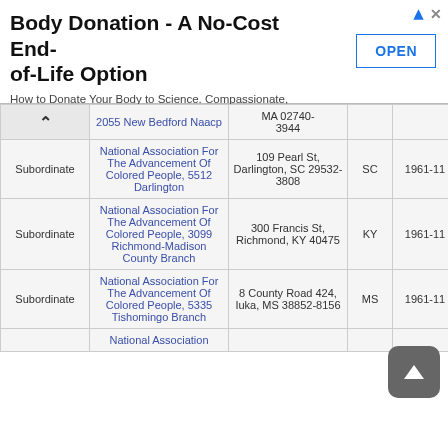[Figure (screenshot): Advertisement banner: 'Body Donation - A No-Cost End-of-Life Option' with OPEN button]
| Type | Name | Address | State | Date | Income |
| --- | --- | --- | --- | --- | --- |
|  | 2055 New Bedford Naacp | MA 02740-3944 |  |  |  |
| Subordinate | National Association For The Advancement Of Colored People, 5512 Darlington | 109 Pearl St, Darlington, SC 29532-3808 | SC | 1961-11 | $3,110 |
| Subordinate | National Association For The Advancement Of Colored People, 3099 Richmond-Madison County Branch | 300 Francis St, Richmond, KY 40475 | KY | 1961-11 | $2,994 |
| Subordinate | National Association For The Advancement Of Colored People, 5335 Tishomingo Branch | 8 County Road 424, Iuka, MS 38852-8156 | MS | 1961-11 |  |
|  | National Association |  |  |  |  |